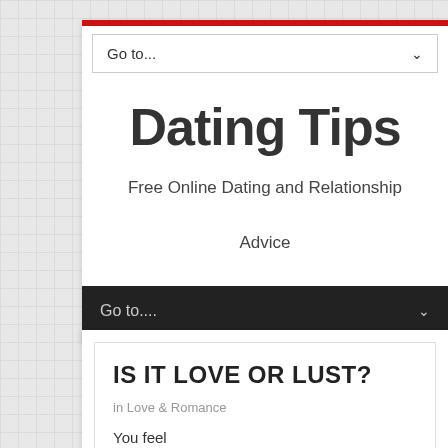Go to...
Dating Tips
Free Online Dating and Relationship Advice
Go to....
IS IT LOVE OR LUST?
in Love & Romance
You feel